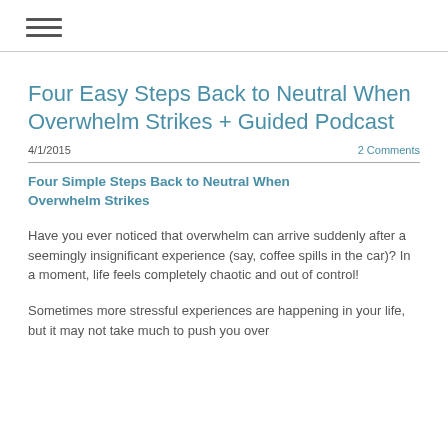≡
Four Easy Steps Back to Neutral When Overwhelm Strikes + Guided Podcast
4/1/2015   2 Comments
Four Simple Steps Back to Neutral When Overwhelm Strikes
Have you ever noticed that overwhelm can arrive suddenly after a seemingly insignificant experience (say, coffee spills in the car)? In a moment, life feels completely chaotic and out of control!
Sometimes more stressful experiences are happening in your life, but it may not take much to push you over